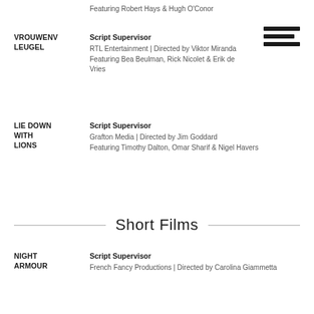Featuring Robert Hays & Hugh O'Conor
VROUWENV LEUGEL
Script Supervisor
RTL Entertainment | Directed by Viktor Miranda
Featuring Bea Beulman, Rick Nicolet & Erik de Vries
LIE DOWN WITH LIONS
Script Supervisor
Grafton Media | Directed by Jim Goddard
Featuring Timothy Dalton, Omar Sharif & Nigel Havers
Short Films
NIGHT ARMOUR
Script Supervisor
French Fancy Productions | Directed by Carolina Giammetta